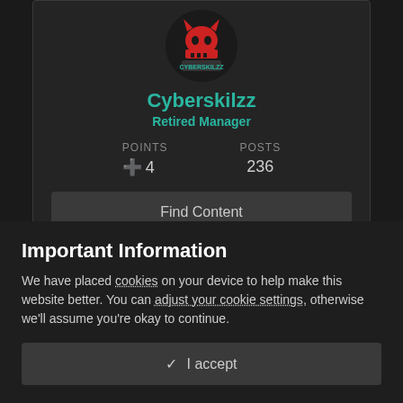[Figure (illustration): Circular avatar with a gaming-themed logo showing CYBERSKILZZ text and a skull/robot icon on dark background]
Cyberskilzz
Retired Manager
POINTS ⊕ 4    POSTS 236
Find Content
Popular Content
Important Information
We have placed cookies on your device to help make this website better. You can adjust your cookie settings, otherwise we'll assume you're okay to continue.
✓ I accept